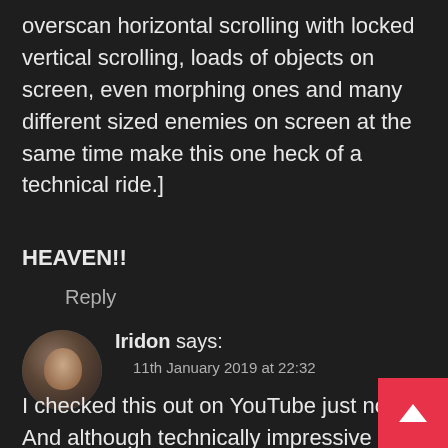overscan horizontal scrolling with locked vertical scrolling, loads of objects on screen, even morphing ones and many different sized enemies on screen at the same time make this one heck of a technical ride.]
HEAVEN!!
Reply
[Figure (photo): Circular avatar image of user Iridon, showing a person with dark hair against a dark background]
Iridon says:
11th January 2019 at 22:32
I checked this out on YouTube just now. And although technically impressive it art direction is not very good. To be honest there is a lot of earlier game (Xenon II etc etc.) that looks better than